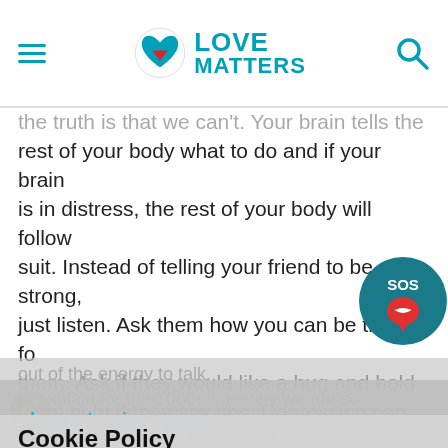Love Matters
the truth is that we can't. Your brain tells the rest of your body what to do and if your brain is in distress, the rest of your body will follow suit. Instead of telling your friend to be strong, just listen. Ask them how you can be there for them. Ask if they would like a hug and hold them tight if they say yes. Depression can make a person feel isolated from the world.
Sometimes a warm hug can be soothing in ways they cannot.
Learn to give space
out of the energy to talk, to explain for the 100th time why we are so
you out, you can send them a message letting them know that you support them taking time
Cookie Policy
We want to use personalised analytical cookies to help us to improve our website. Read more in our cookie statement
YES